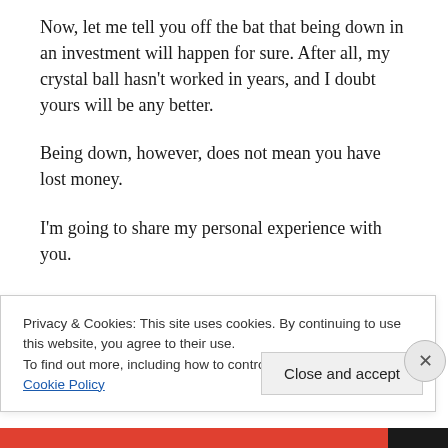Now, let me tell you off the bat that being down in an investment will happen for sure. After all, my crystal ball hasn't worked in years, and I doubt yours will be any better.
Being down, however, does not mean you have lost money.
I'm going to share my personal experience with you.
Two years ago, I purchased shares in a company called Splunk (NASDAQ: SPLK).
Privacy & Cookies: This site uses cookies. By continuing to use this website, you agree to their use.
To find out more, including how to control cookies, see here:
Cookie Policy
Close and accept